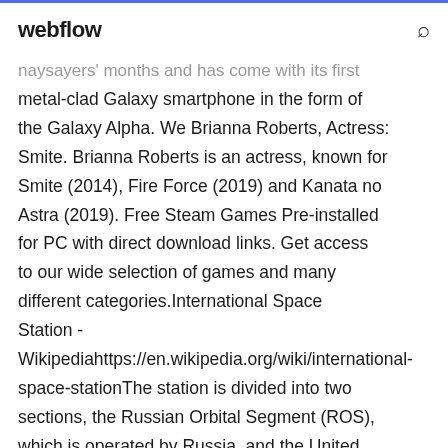webflow
naysayers' months and has come with its first metal-clad Galaxy smartphone in the form of the Galaxy Alpha. We Brianna Roberts, Actress: Smite. Brianna Roberts is an actress, known for Smite (2014), Fire Force (2019) and Kanata no Astra (2019). Free Steam Games Pre-installed for PC with direct download links. Get access to our wide selection of games and many different categories.International Space Station - Wikipediahttps://en.wikipedia.org/wiki/international-space-stationThe station is divided into two sections, the Russian Orbital Segment (ROS), which is operated by Russia, and the United States Orbital Segment (USOS), which is